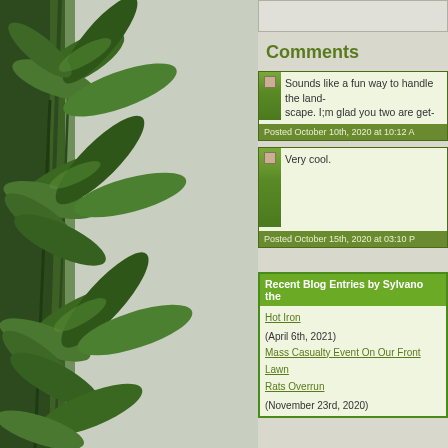[Figure (photo): Left panel showing green cannabis/plant leaves against a grey textured background]
Comments
Sounds like a fun way to handle the land-scape. I;m glad you two are get-
Posted October 10th, 2020 at 10:12 A
Very cool.
Posted October 15th, 2020 at 03:10 P
Recent Blog Entries by Sylvano the
Hot Iron (April 6th, 2021)
Mass Casualty Event On Our Front Lawn
Rats Overrun (November 23rd, 2020)